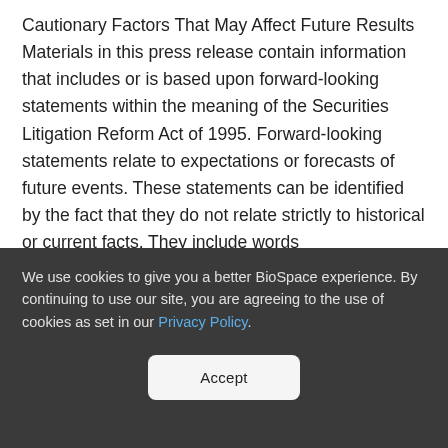Cautionary Factors That May Affect Future Results Materials in this press release contain information that includes or is based upon forward-looking statements within the meaning of the Securities Litigation Reform Act of 1995. Forward-looking statements relate to expectations or forecasts of future events. These statements can be identified by the fact that they do not relate strictly to historical or current facts. They include words
We use cookies to give you a better BioSpace experience. By continuing to use our site, you are agreeing to the use of cookies as set in our Privacy Policy.
Accept